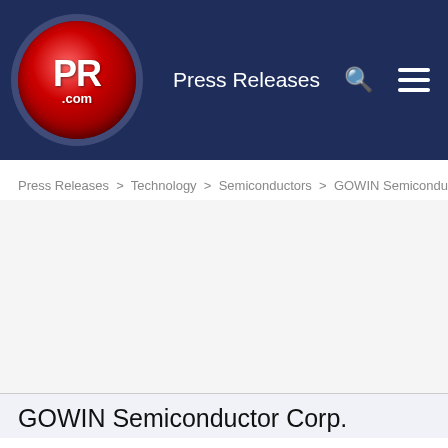[Figure (logo): PR.com logo - red circle with white PR text and .com below, on dark navy navigation bar]
Press Releases
Press Releases > Technology > Semiconductors > GOWIN Semiconductor Corp.
GOWIN Semiconductor Corp.
Press Releases
GOWIN Semiconductor Wins